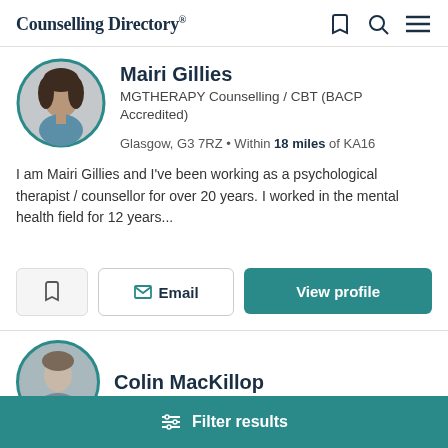Counselling Directory
Mairi Gillies
MGTHERAPY Counselling / CBT (BACP Accredited)
Glasgow, G3 7RZ • Within 18 miles of KA16
I am Mairi Gillies and I've been working as a psychological therapist / counsellor for over 20 years. I worked in the mental health field for 12 years...
Colin MacKillop
Filter results